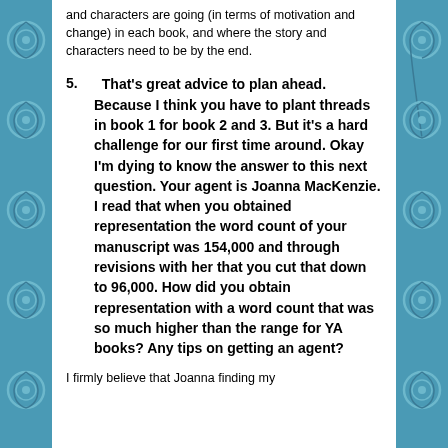and characters are going (in terms of motivation and change) in each book, and where the story and characters need to be by the end.
5.  That's great advice to plan ahead. Because I think you have to plant threads in book 1 for book 2 and 3. But it's a hard challenge for our first time around. Okay I'm dying to know the answer to this next question. Your agent is Joanna MacKenzie. I read that when you obtained representation the word count of your manuscript was 154,000 and through revisions with her that you cut that down to 96,000. How did you obtain representation with a word count that was so much higher than the range for YA books? Any tips on getting an agent?
I firmly believe that Joanna finding my